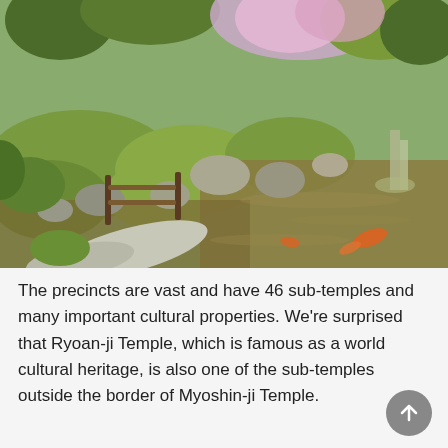[Figure (photo): A Japanese garden with a pond, stepping stones, rounded moss-covered shrubs, large rocks, a wooden bamboo fence, and cherry blossoms visible in the background. Koi fish are visible in the brownish-green water.]
The precincts are vast and have 46 sub-temples and many important cultural properties. We're surprised that Ryoan-ji Temple, which is famous as a world cultural heritage, is also one of the sub-temples outside the border of Myoshin-ji Temple.